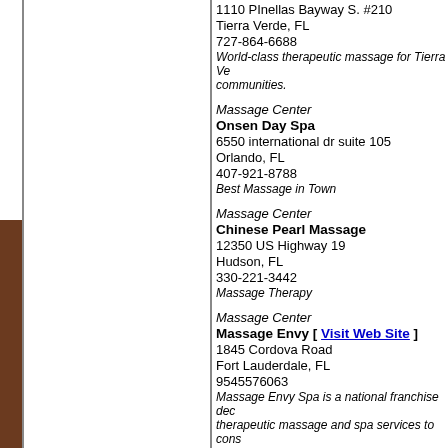1110 PInellas Bayway S. #210
Tierra Verde, FL
727-864-6688
World-class therapeutic massage for Tierra Verde communities.
Massage Center
Onsen Day Spa
6550 international dr suite 105
Orlando, FL
407-921-8788
Best Massage in Town
Massage Center
Chinese Pearl Massage
12350 US Highway 19
Hudson, FL
330-221-3442
Massage Therapy
Massage Center
Massage Envy [ Visit Web Site ]
1845 Cordova Road
Fort Lauderdale, FL
9545576063
Massage Envy Spa is a national franchise dedicated to therapeutic massage and spa services to consumers at locations. Today, Massage Envy Spa has more largest massage therapy franchise system in t
Day Spa
Massage Green Spa of Pembroke Pines
15829 Pines Boulevard